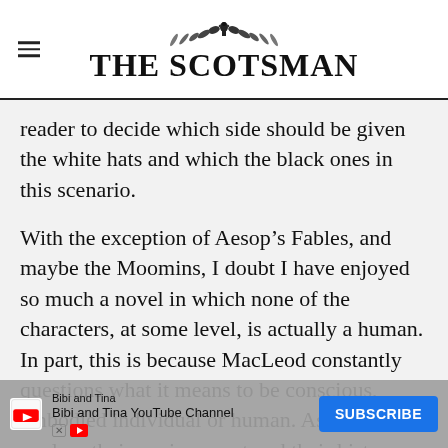THE SCOTSMAN
reader to decide which side should be given the white hats and which the black ones in this scenario.
With the exception of Aesop’s Fables, and maybe the Moomins, I doubt I have enjoyed so much a novel in which none of the characters, at some level, is actually a human. In part, this is because MacLeod constantly questions what it means to be conscious, embodied individual or human. As the robots explore their environment and their history the
[Figure (other): Advertisement overlay: Bibi and Tina YouTube Channel with Subscribe button]